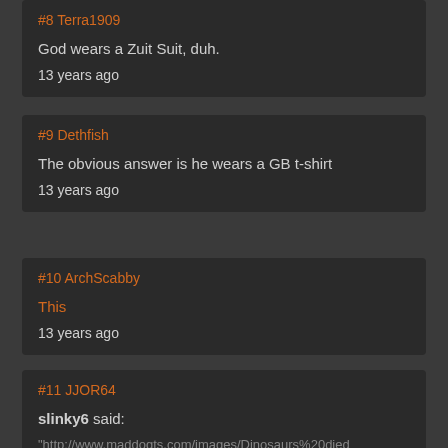#8 Terra1909
God wears a Zuit Suit, duh.
13 years ago
#9 Dethfish
The obvious answer is he wears a GB t-shirt
13 years ago
#10 ArchScabby
This
13 years ago
#11 JJOR64
slinky6 said:
"http://www.maddogts.com/images/Dinosaurs%20died..."